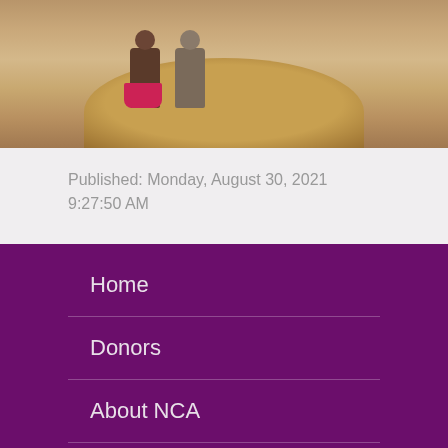[Figure (photo): Photo of two handmade dolls sitting on a wooden table, partially visible at top of page]
Published: Monday, August 30, 2021 9:27:50 AM
Home
Donors
About NCA
News